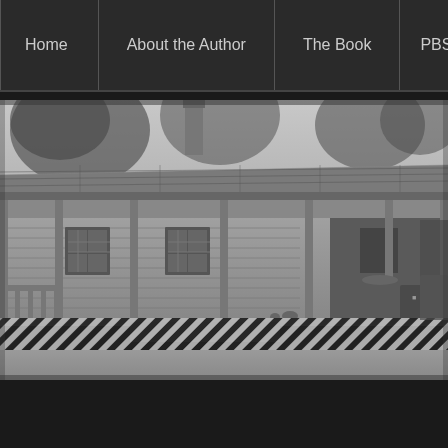Home | About the Author | The Book | PBS F
[Figure (photo): Black and white historical photograph of a wood-framed single-story building with a covered front porch supported by columns. The building has a sloped roof and siding. There are windows visible on the facade, barrels and crates on the porch, and a striped fence/railing at the base. Trees are visible in the background.]